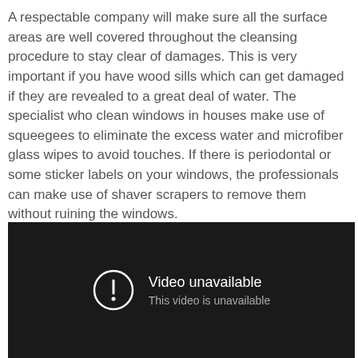A respectable company will make sure all the surface areas are well covered throughout the cleansing procedure to stay clear of damages. This is very important if you have wood sills which can get damaged if they are revealed to a great deal of water. The specialist who clean windows in houses make use of squeegees to eliminate the excess water and microfiber glass wipes to avoid touches. If there is periodontal or some sticker labels on your windows, the professionals can make use of shaver scrapers to remove them without ruining the windows.
[Figure (screenshot): Embedded video player showing a 'Video unavailable' error message with a circle exclamation icon, white text 'Video unavailable' and grey text 'This video is unavailable' on a dark background.]